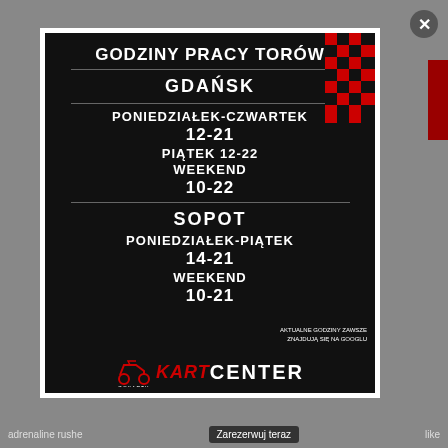GODZINY PRACY TORÓW
GDAŃSK
PONIEDZIAŁEK-CZWARTEK
12-21
PIĄTEK 12-22
WEEKEND
10-22
SOPOT
PONIEDZIAŁEK-PIĄTEK
14-21
WEEKEND
10-21
AKTUALNE GODZINY ZAWSZE ZNAJDUJĄ SIĘ NA GOOGLU
[Figure (logo): Kart Center Gokarty logo with red stylized kart icon]
adrenaline rushe   Zarezerwuj teraz   like